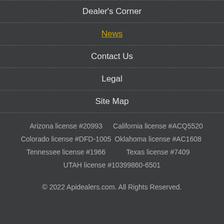Dealer's Corner
News
Contact Us
Legal
Site Map
Arizona license #20993    California license #ACQ5520
Colorado license #DFD-1005    Oklahoma license #AC1608
Tennessee license #1966    Texas license #7409
UTAH license #10399860-6501
© 2022 Apidealers.com. All Rights Reserved.